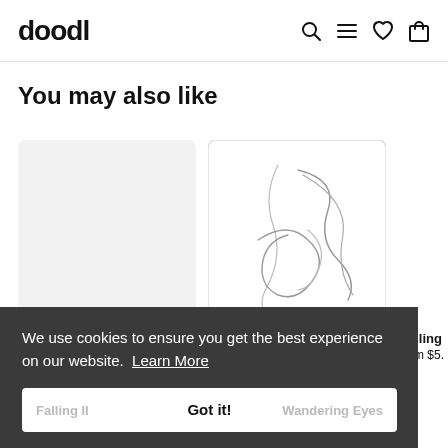doodl
You may also like
[Figure (photo): Product card 1: blank light gray tablet/notebook product image]
Falling II
from $5.05 USD
[Figure (illustration): Product card 2: white tablet/notebook with abstract hand-drawn line doodle art]
Wandering Eyes
from $5.05 USD
Falling
from $5.
We use cookies to ensure you get the best experience on our website.  Learn More
Got it!